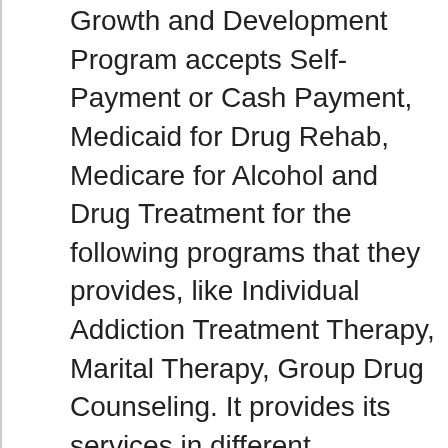Growth and Development Program accepts Self-Payment or Cash Payment, Medicaid for Drug Rehab, Medicare for Alcohol and Drug Treatment for the following programs that they provides, like Individual Addiction Treatment Therapy, Marital Therapy, Group Drug Counseling. It provides its services in different environments, including Outpatient Drug Addiction Treatment.
The facility provides all of their services for the following care types: Mental Health Care. Additionally, the program has a few individualized programs for individuals, including Drug and Alcohol Rehab for Lesbian, Gay, Bisexual, Or Transgender (LGBT) Clients , Court Ordered Outpatient Addiction Treatment...